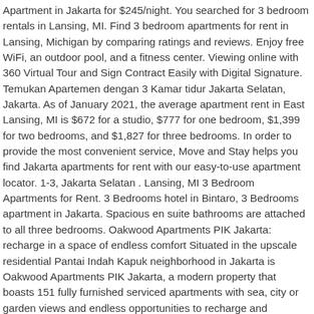Apartment in Jakarta for $245/night. You searched for 3 bedroom rentals in Lansing, MI. Find 3 bedroom apartments for rent in Lansing, Michigan by comparing ratings and reviews. Enjoy free WiFi, an outdoor pool, and a fitness center. Viewing online with 360 Virtual Tour and Sign Contract Easily with Digital Signature. Temukan Apartemen dengan 3 Kamar tidur Jakarta Selatan, Jakarta. As of January 2021, the average apartment rent in East Lansing, MI is $672 for a studio, $777 for one bedroom, $1,399 for two bedrooms, and $1,827 for three bedrooms. In order to provide the most convenient service, Move and Stay helps you find Jakarta apartments for rent with our easy-to-use apartment locator. 1-3, Jakarta Selatan . Lansing, MI 3 Bedroom Apartments for Rent. 3 Bedrooms hotel in Bintaro, 3 Bedrooms apartment in Jakarta. Spacious en suite bathrooms are attached to all three bedrooms. Oakwood Apartments PIK Jakarta: recharge in a space of endless comfort Situated in the upscale residential Pantai Indah Kapuk neighborhood in Jakarta is Oakwood Apartments PIK Jakarta, a modern property that boasts 151 fully furnished serviced apartments with sea, city or garden views and endless opportunities to recharge and rejuvenate in a space of undisturbed tranquility. Offering privacy and comfort, the apartment features three bedrooms and bathrooms, a walk-in closet, a fully